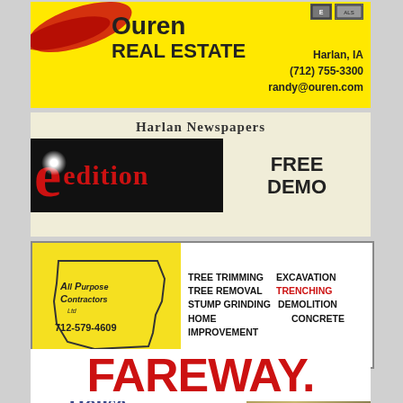[Figure (illustration): Ouren Real Estate advertisement. Yellow background with red brush stroke. Text: Ouren REAL ESTATE, Harlan IA, (712) 755-3300, randy@ouren.com]
[Figure (illustration): Harlan Newspapers e-edition advertisement with FREE DEMO text. Beige background with black banner showing stylized red 'e' and 'edition' text.]
[Figure (illustration): All Purpose Contractors Ltd advertisement. Yellow Iowa state shape logo with tree and construction services: Tree Trimming, Excavation, Tree Removal, Trenching, Stump Grinding, Demolition, Home Improvement, Concrete. Phone: 712-579-4609]
[Figure (illustration): Hansen House Memory Care Residence advertisement. Logo with heart and blue serif text. Contact: 712-733-8782, 703 Dye St., Harlan IA]
[Figure (logo): Fareway logo in large red bold text with registered trademark dot]